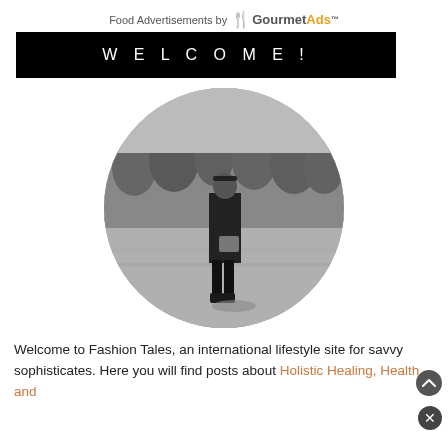Food Advertisements by GourmetAds™
WELCOME!
[Figure (photo): Black and white circular photo of a woman in a black jacket, cap, skirt and boots standing in an open field with trees in the background]
Welcome to Fashion Tales, an international lifestyle site for savvy sophisticates. Here you will find posts about Holistic Healing, Health and Wellness, Beauty, Food, Photography, Contests, and...